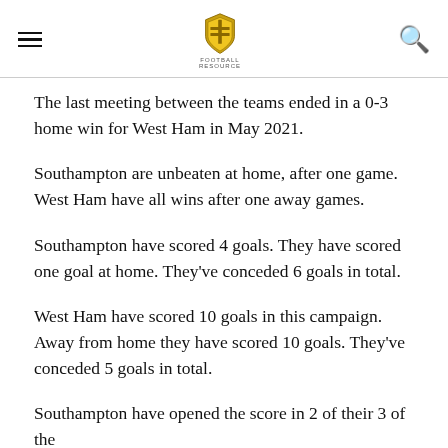The last meeting between the teams ended in a 0-3 home win for West Ham in May 2021.
Southampton are unbeaten at home, after one game. West Ham have all wins after one away games.
Southampton have scored 4 goals. They have scored one goal at home. They've conceded 6 goals in total.
West Ham have scored 10 goals in this campaign. Away from home they have scored 10 goals. They've conceded 5 goals in total.
Southampton have opened the score in 2 of their 3 of the